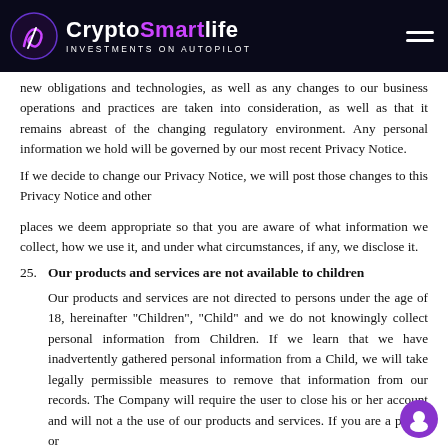CryptoSmartlife INVESTMENTS ON AUTOPILOT
new obligations and technologies, as well as any changes to our business operations and practices are taken into consideration, as well as that it remains abreast of the changing regulatory environment. Any personal information we hold will be governed by our most recent Privacy Notice.
If we decide to change our Privacy Notice, we will post those changes to this Privacy Notice and other
places we deem appropriate so that you are aware of what information we collect, how we use it, and under what circumstances, if any, we disclose it.
25. Our products and services are not available to children
Our products and services are not directed to persons under the age of 18, hereinafter “Children”, “Child” and we do not knowingly collect personal information from Children. If we learn that we have inadvertently gathered personal information from a Child, we will take legally permissible measures to remove that information from our records. The Company will require the user to close his or her account and will not a the use of our products and services. If you are a parent or